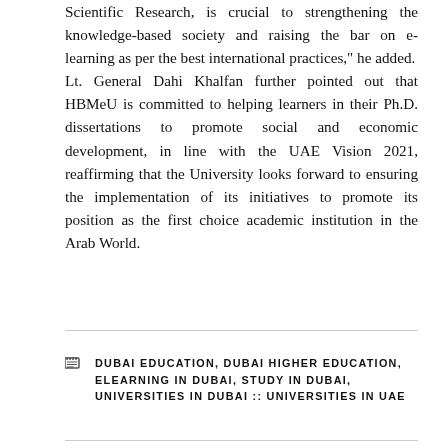Scientific Research, is crucial to strengthening the knowledge-based society and raising the bar on e-learning as per the best international practices," he added.
Lt. General Dahi Khalfan further pointed out that HBMeU is committed to helping learners in their Ph.D. dissertations to promote social and economic development, in line with the UAE Vision 2021, reaffirming that the University looks forward to ensuring the implementation of its initiatives to promote its position as the first choice academic institution in the Arab World.
DUBAI EDUCATION, DUBAI HIGHER EDUCATION, ELEARNING IN DUBAI, STUDY IN DUBAI, UNIVERSITIES IN DUBAI :: UNIVERSITIES IN UAE